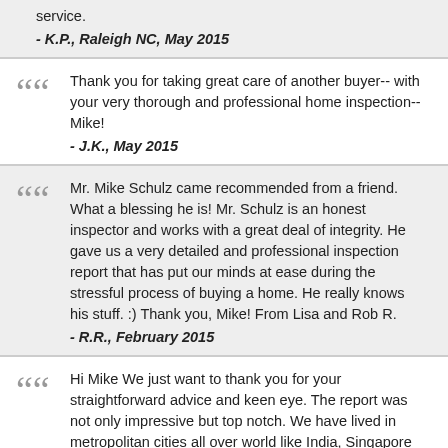service.
- K.P., Raleigh NC, May 2015
Thank you for taking great care of another buyer-- with your very thorough and professional home inspection--Mike!
- J.K., May 2015
Mr. Mike Schulz came recommended from a friend. What a blessing he is! Mr. Schulz is an honest inspector and works with a great deal of integrity. He gave us a very detailed and professional inspection report that has put our minds at ease during the stressful process of buying a home. He really knows his stuff. :) Thank you, Mike! From Lisa and Rob R.
- R.R., February 2015
Hi Mike We just want to thank you for your straightforward advice and keen eye. The report was not only impressive but top notch. We have lived in metropolitan cities all over world like India, Singapore and Australia and have not seen this level